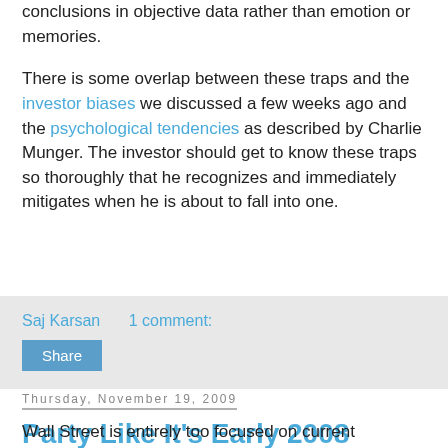conclusions in objective data rather than emotion or memories.
There is some overlap between these traps and the investor biases we discussed a few weeks ago and the psychological tendencies as described by Charlie Munger. The investor should get to know these traps so thoroughly that he recognizes and immediately mitigates when he is about to fall into one.
Saj Karsan    1 comment:
Share
Thursday, November 19, 2009
Party Like It's Early 2008
Wall Street is entirely too focused on current earnings, as noted by Ben Graham. So when a company shows declining earnings or declining revenues, the stock price will take a